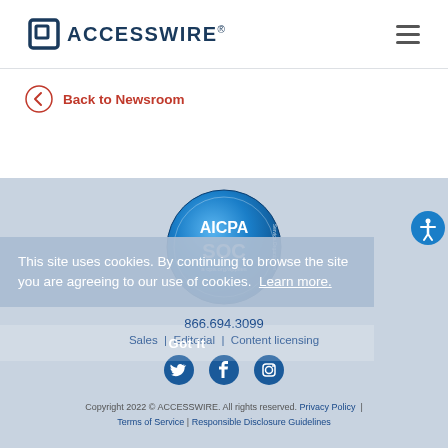[Figure (logo): ACCESSWIRE logo with square bracket icon in dark navy blue]
[Figure (other): Hamburger menu icon (three horizontal lines)]
Back to Newsroom
[Figure (other): AICPA SOC certification badge - circular blue badge]
866.694.3099
Sales | Editorial | Content licensing
[Figure (other): Social media icons: Twitter, Facebook, Instagram]
This site uses cookies. By continuing to browse the site you are agreeing to our use of cookies. Learn more.
Copyright 2022 © ACCESSWIRE. All rights reserved. Privacy Policy | Terms of Service | Responsible Disclosure Guidelines
[Figure (other): Accessibility button - blue circle with person icon]